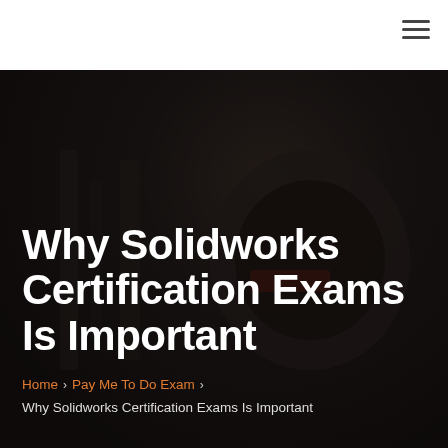≡
[Figure (photo): Dark industrial background showing machinery or mechanical equipment with dark overlay]
Why Solidworks Certification Exams Is Important
Home › Pay Me To Do Exam › Why Solidworks Certification Exams Is Important